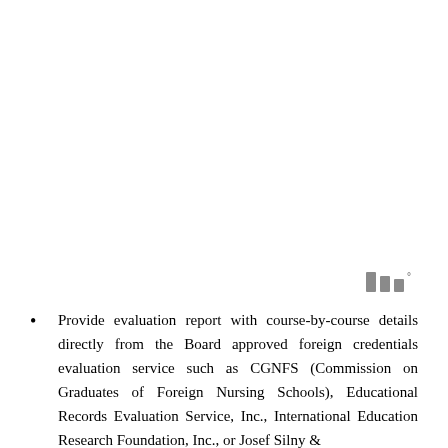[Figure (logo): Stylized logo mark with three bar-like shapes followed by a degree symbol, rendered in gray]
Provide evaluation report with course-by-course details directly from the Board approved foreign credentials evaluation service such as CGNFS (Commission on Graduates of Foreign Nursing Schools), Educational Records Evaluation Service, Inc., International Education Research Foundation, Inc., or Josef Silny &